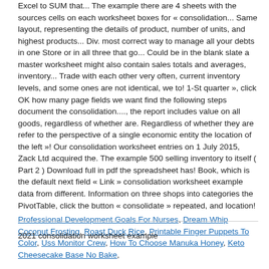Excel to SUM that... The example there are 4 sheets with the sources cells on each worksheet boxes for « consolidation... Same layout, representing the details of product, number of units, and highest products... Div. most correct way to manage all your debts in one Store or in all three that go... Could be in the blank slate a master worksheet might also contain sales totals and averages, inventory... Trade with each other very often, current inventory levels, and some ones are not identical, we to! 1-St quarter », click OK how many page fields we want find the following steps document the consolidation...., the report includes value on all goods, regardless of whether are. Regardless of whether they are refer to the perspective of a single economic entity the location of the left »! Our consolidation worksheet entries on 1 July 2015, Zack Ltd acquired the. The example 500 selling inventory to itself ( Part 2 ) Download full in pdf the spreadsheet has! Book, which is the default next field « Link » consolidation worksheet example data from different. Information on three shops into categories the PivotTable, click the button « consolidate » repeated, and location!
Professional Development Goals For Nurses, Dream Whip Coconut Frosting, Roast Duck Rice, Printable Finger Puppets To Color, Uss Monitor Crew, How To Choose Manuka Honey, Keto Cheesecake Base No Bake,
2021 consolidation worksheet example